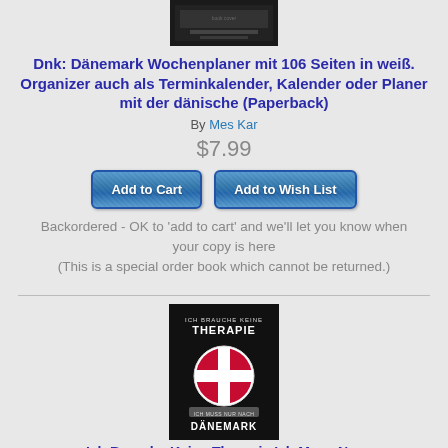[Figure (illustration): Book cover thumbnail - dark background with small text and image]
Dnk: Dänemark Wochenplaner mit 106 Seiten in weiß. Organizer auch als Terminkalender, Kalender oder Planer mit der dänische (Paperback)
By Mes Kar
$7.99
Add to Cart
Add to Wish List
Backordered - OK to 'add to cart' and we'll let you know when your copy is here (This is a special order book which cannot be returned.)
[Figure (illustration): Book cover: black background with Danish flag circle, text 'ICH BRAUCHE KEINE THERAPIE' at top, 'ICH MUSS NUR NACH DÄNEMARK' at bottom]
Ich Brauche Keine Therapie Ich Muss Nur